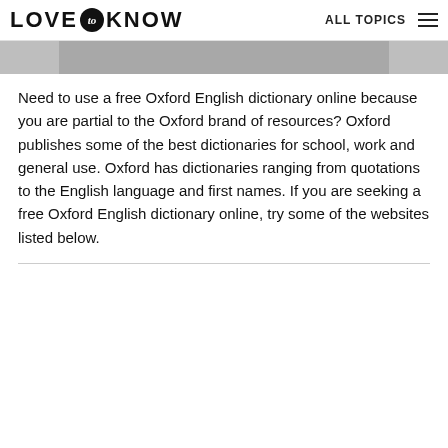LOVE to KNOW  ALL TOPICS
[Figure (photo): Partial view of an image strip at the top of the content area, showing a cropped photograph (mostly gray/light tones).]
Need to use a free Oxford English dictionary online because you are partial to the Oxford brand of resources? Oxford publishes some of the best dictionaries for school, work and general use. Oxford has dictionaries ranging from quotations to the English language and first names. If you are seeking a free Oxford English dictionary online, try some of the websites listed below.